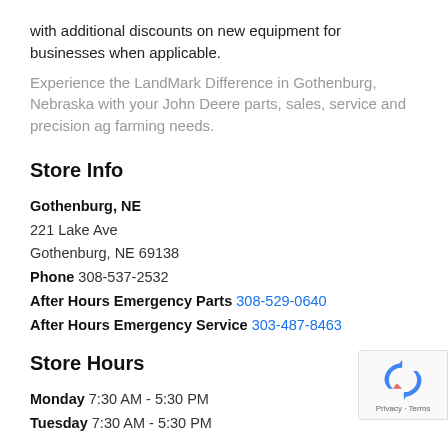with additional discounts on new equipment for businesses when applicable.
Experience the LandMark Difference in Gothenburg, Nebraska with your John Deere parts, sales, service and precision ag farming needs.
Store Info
Gothenburg, NE
221 Lake Ave
Gothenburg, NE 69138
Phone 308-537-2532
After Hours Emergency Parts 308-529-0640
After Hours Emergency Service 303-487-8463
Store Hours
Monday 7:30 AM - 5:30 PM
Tuesday 7:30 AM - 5:30 PM